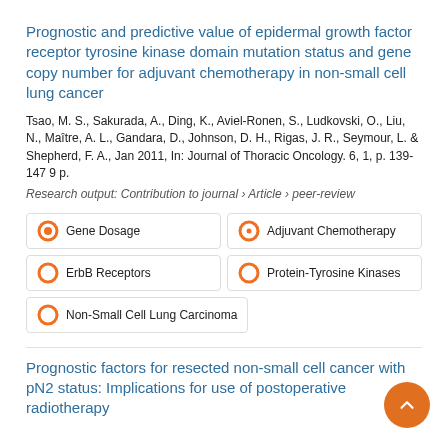Prognostic and predictive value of epidermal growth factor receptor tyrosine kinase domain mutation status and gene copy number for adjuvant chemotherapy in non-small cell lung cancer
Tsao, M. S., Sakurada, A., Ding, K., Aviel-Ronen, S., Ludkovski, O., Liu, N., Maître, A. L., Gandara, D., Johnson, D. H., Rigas, J. R., Seymour, L. & Shepherd, F. A., Jan 2011, In: Journal of Thoracic Oncology. 6, 1, p. 139-147 9 p.
Research output: Contribution to journal › Article › peer-review
Gene Dosage
Adjuvant Chemotherapy
ErbB Receptors
Protein-Tyrosine Kinases
Non-Small Cell Lung Carcinoma
Prognostic factors for resected non-small cell cancer with pN2 status: Implications for use of postoperative radiotherapy